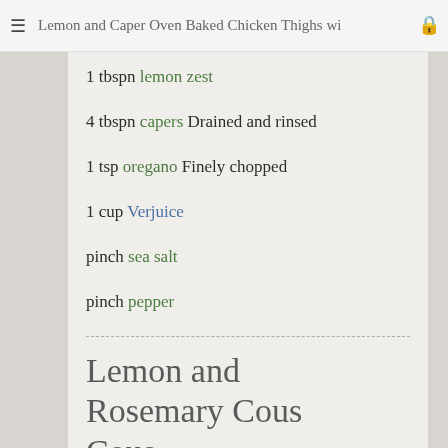Lemon and Caper Oven Baked Chicken Thighs wi…
1 tbspn lemon zest
4 tbspn capers Drained and rinsed
1 tsp oregano Finely chopped
1 cup Verjuice
pinch sea salt
pinch pepper
Lemon and Rosemary Cous Cous